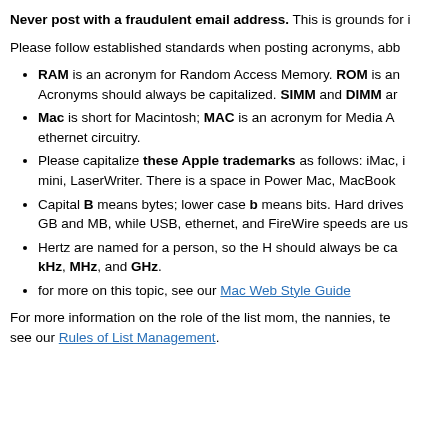Never post with a fraudulent email address. This is grounds for i
Please follow established standards when posting acronyms, abb
RAM is an acronym for Random Access Memory. ROM is an Acronyms should always be capitalized. SIMM and DIMM ar
Mac is short for Macintosh; MAC is an acronym for Media A ethernet circuitry.
Please capitalize these Apple trademarks as follows: iMac, i mini, LaserWriter. There is a space in Power Mac, MacBook
Capital B means bytes; lower case b means bits. Hard drives GB and MB, while USB, ethernet, and FireWire speeds are us
Hertz are named for a person, so the H should always be ca kHz, MHz, and GHz.
for more on this topic, see our Mac Web Style Guide
For more information on the role of the list mom, the nannies, te see our Rules of List Management.